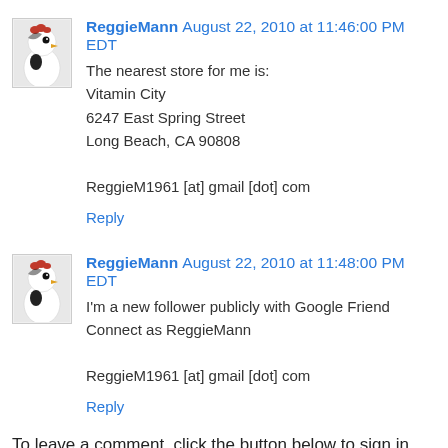ReggieMann August 22, 2010 at 11:46:00 PM EDT
The nearest store for me is:
Vitamin City
6247 East Spring Street
Long Beach, CA 90808

ReggieM1961 [at] gmail [dot] com

Reply
ReggieMann August 22, 2010 at 11:48:00 PM EDT
I'm a new follower publicly with Google Friend Connect as ReggieMann

ReggieM1961 [at] gmail [dot] com

Reply
To leave a comment, click the button below to sign in with Google.